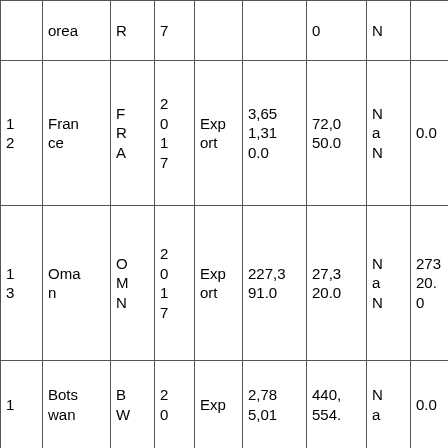|  | orea | R | 7 |  |  | 0 | N |  |  |
| 1
2 | Fran
ce | F
R
A | 2
0
1
7 | Exp
ort | 3,65
1,31
0.0 | 72,0
50.0 | N
a
N | 0.0 | 50.
68 |
| 1
3 | Oma
n | O
M
N | 2
0
1
7 | Exp
ort | 227,3
91.0 | 27,3
20.0 | N
a
N | 273
20.
0 | 8.3
2 |
| 1 | Bots
wan | B
W | 2
0 | Exp | 2,78
5,01 | 440,
554. | N
a | 0.0 | 6.3 |